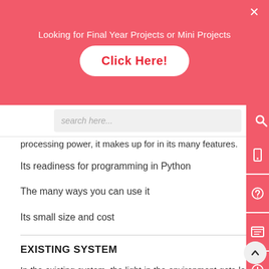[Figure (infographic): Red promotional banner with text 'Looking for Final Year Projects or Mini Projects' and a white rounded button 'Click Here!' plus a close X button]
processing power, it makes up for in its many features.
Its readiness for programming in Python
The many ways you can use it
Its small size and cost
EXISTING SYSTEM
In the existing system, the light in the environment gets located using the LDR and the decision will be made to drive the car.
DISADVANTAGES